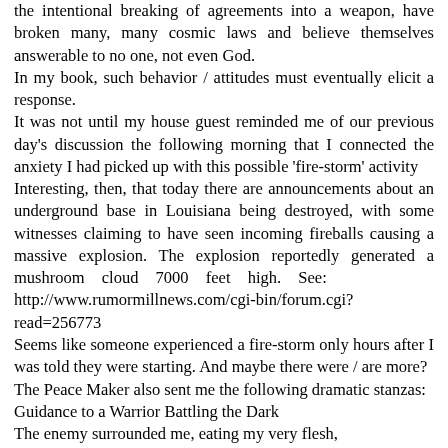the intentional breaking of agreements into a weapon, have broken many, many cosmic laws and believe themselves answerable to no one, not even God.
In my book, such behavior / attitudes must eventually elicit a response.
It was not until my house guest reminded me of our previous day's discussion the following morning that I connected the anxiety I had picked up with this possible 'fire-storm' activity
Interesting, then, that today there are announcements about an underground base in Louisiana being destroyed, with some witnesses claiming to have seen incoming fireballs causing a massive explosion. The explosion reportedly generated a mushroom cloud 7000 feet high. See: http://www.rumormillnews.com/cgi-bin/forum.cgi?read=256773
Seems like someone experienced a fire-storm only hours after I was told they were starting. And maybe there were / are more?
The Peace Maker also sent me the following dramatic stanzas:
Guidance to a Warrior Battling the Dark
The enemy surrounded me, eating my very flesh,